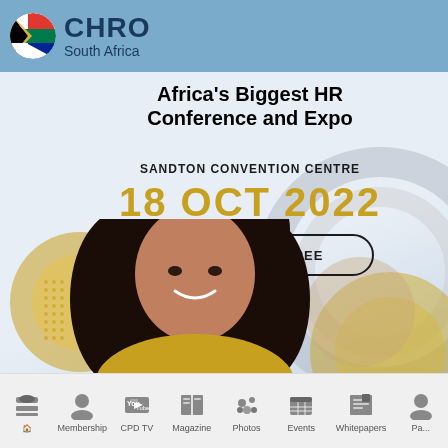CHRO South Africa
Africa's Biggest HR Conference and Expo
SANDTON CONVENTION CENTRE
18 OCT 2022
REGISTER FOR FREE
[Figure (photo): Smiling young woman with curly hair, decorative gold and grey circles in background]
Home | Membership | CPD TV | Magazine | Photos | Events | Whitepapers | Pa...